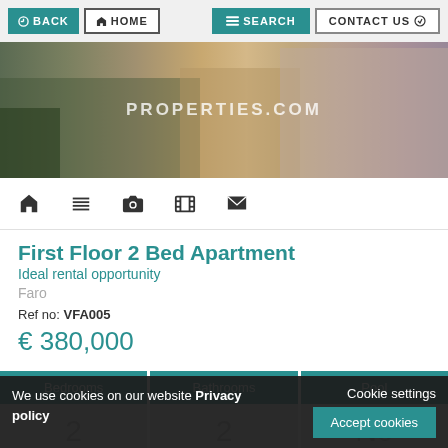BACK | HOME | SEARCH | CONTACT US
[Figure (photo): Exterior photo of a modern apartment building with PROPERTIES.COM watermark overlaid]
[Figure (screenshot): Icon toolbar with home, list, camera, film, and envelope icons]
First Floor 2 Bed Apartment
Ideal rental opportunity
Faro
Ref no: VFA005
€ 380,000
| Bedrooms | Bathrooms | Pool |
| --- | --- | --- |
| 2 | 2 | No |
We use cookies on our website Privacy policy
Cookie settings
Accept cookies